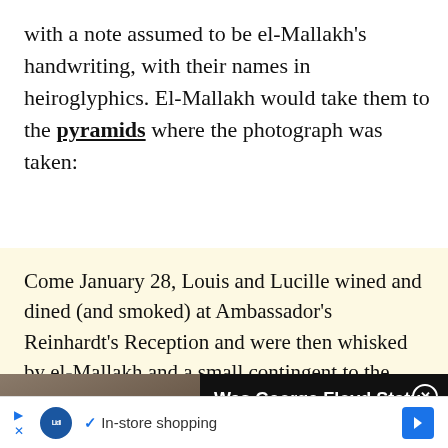with a note assumed to be el-Mallakh's handwriting, with their names in heiroglyphics. El-Mallakh would take them to the pyramids where the photograph was taken:
Come January 28, Louis and Lucille wined and dined (and smoked) at Ambassador's Reinhardt's Reception and were then whisked by el-Mallakh and a small contingent to the location of the Great
[Figure (screenshot): Video overlay showing George Floyd statue bust with play button, title 'Was George Floyd Statue in NYC Defaced With White Nationalist Symbol?' and close button]
[Figure (screenshot): Advertisement bar with Lidl logo, checkmark, 'In-store shopping' text, and navigation arrows]